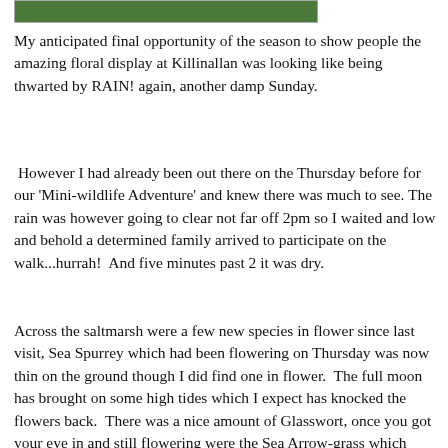[Figure (photo): Partial view of a green outdoor/nature scene at top of page]
My anticipated final opportunity of the season to show people the amazing floral display at Killinallan was looking like being thwarted by RAIN! again, another damp Sunday.
However I had already been out there on the Thursday before for our 'Mini-wildlife Adventure' and knew there was much to see. The rain was however going to clear not far off 2pm so I waited and low and behold a determined family arrived to participate on the walk...hurrah!  And five minutes past 2 it was dry.
Across the saltmarsh were a few new species in flower since last visit, Sea Spurrey which had been flowering on Thursday was now thin on the ground though I did find one in flower.  The full moon has brought on some high tides which I expect has knocked the flowers back.  There was a nice amount of Glasswort, once you got your eye in and still flowering were the Sea Arrow-grass which tastes of coriander and not to be confused with the sea plantain which has some equally non-descript flowers.